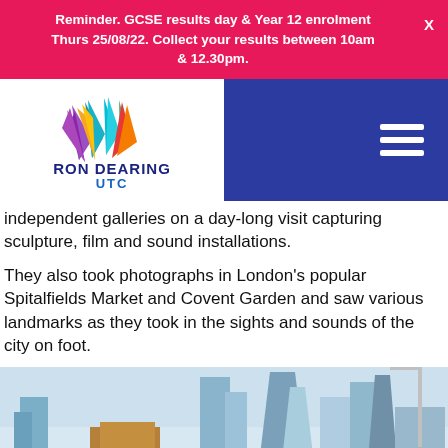Reminder. GCSE results day & Year 12 enrolment Thurs 25/08/22. Collect your results between 10am & 12.30pm.
[Figure (logo): Ron Dearing UTC logo with colourful wing/feather design above bold text RON DEARING UTC]
independent galleries on a day-long visit capturing sculpture, film and sound installations.
They also took photographs in London’s popular Spitalfields Market and Covent Garden and saw various landmarks as they took in the sights and sounds of the city on foot.
[Figure (photo): Photograph of London city skyline showing modern skyscrapers and older brick buildings under a light blue sky]